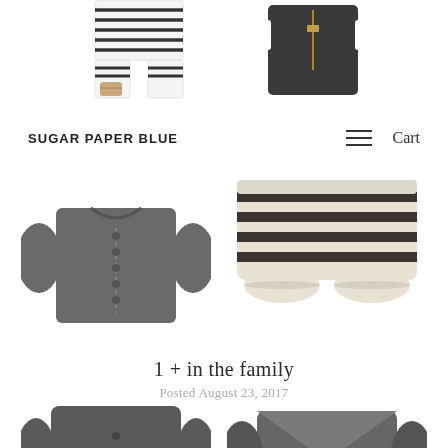[Figure (photo): Top row: two baby garments — striped romper on left, dark vest/zip top on right, partially cropped at top of page]
SUGAR PAPER BLUE
[Figure (photo): Middle row: dark grey button-up baby cardigan on left, striped baby harem pants on right]
1 + in the family
Posted August 23, 2017
[Figure (photo): Bottom row: two baby tops — dark grey button-front long sleeve on left, grey raglan with circle patch on right, partially cropped at bottom of page]